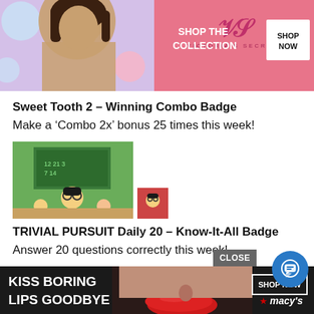[Figure (screenshot): Victoria's Secret advertisement banner with model, VS logo, 'SHOP THE COLLECTION' text and 'SHOP NOW' button on pink background]
Sweet Tooth 2 – Winning Combo Badge
Make a 'Combo 2x' bonus 25 times this week!
[Figure (screenshot): Trivial Pursuit game screenshot showing animated classroom scene with character wearing glasses, plus small game icon thumbnail]
TRIVIAL PURSUIT Daily 20 – Know-It-All Badge
Answer 20 questions correctly this week!
[Figure (screenshot): Trivial Pursuit game screenshot showing animated animal character with sword and gem, plus small game icon thumbnail]
TRIVIAL PURSUIT Daily 20 – Off-Duty Wedge Badge
Earn 3...
[Figure (screenshot): Macy's advertisement banner with 'KISS BORING LIPS GOODBYE' text, woman with red lips, SHOP NOW button, and Macy's star logo. Overlaid with CLOSE button and blue chat bubble icon.]